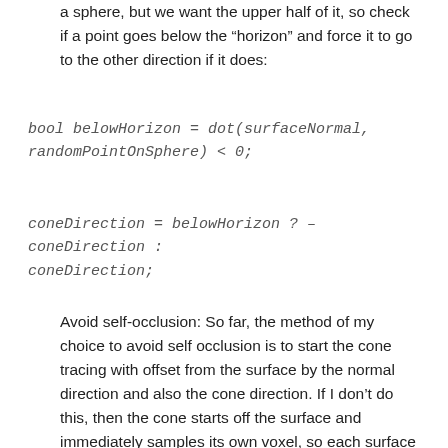a sphere, but we want the upper half of it, so check if a point goes below the “horizon” and force it to go to the other direction if it does:
Avoid self-occlusion: So far, the method of my choice to avoid self occlusion is to start the cone tracing with offset from the surface by the normal direction and also the cone direction. If I don’t do this, then the cone starts off the surface and immediately samples its own voxel, so each surface would get its own contribution from the